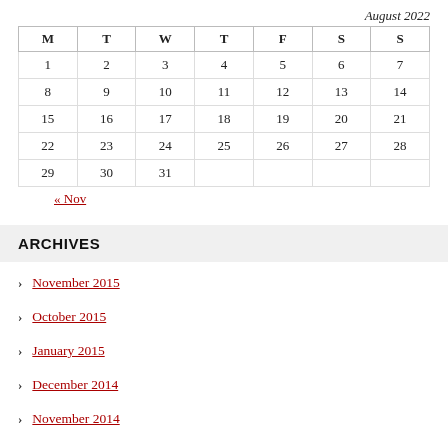August 2022
| M | T | W | T | F | S | S |
| --- | --- | --- | --- | --- | --- | --- |
| 1 | 2 | 3 | 4 | 5 | 6 | 7 |
| 8 | 9 | 10 | 11 | 12 | 13 | 14 |
| 15 | 16 | 17 | 18 | 19 | 20 | 21 |
| 22 | 23 | 24 | 25 | 26 | 27 | 28 |
| 29 | 30 | 31 |  |  |  |  |
« Nov
ARCHIVES
November 2015
October 2015
January 2015
December 2014